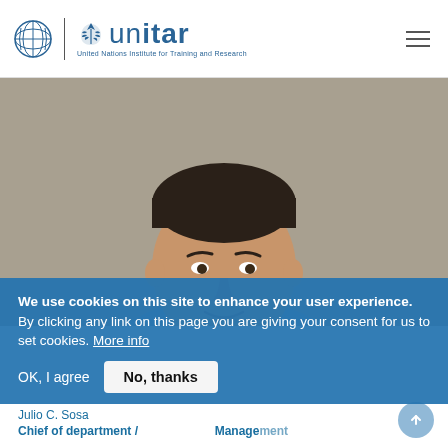UNITAR — United Nations Institute for Training and Research
[Figure (photo): Headshot of a man smiling, wearing a light blue collared shirt, against a neutral grey background. The person is Julio C. Sosa.]
We use cookies on this site to enhance your user experience.  By clicking any link on this page you are giving your consent for us to set cookies. More info
OK, I agree    No, thanks
Julio C. Sosa
Chief of department / ... Management ...